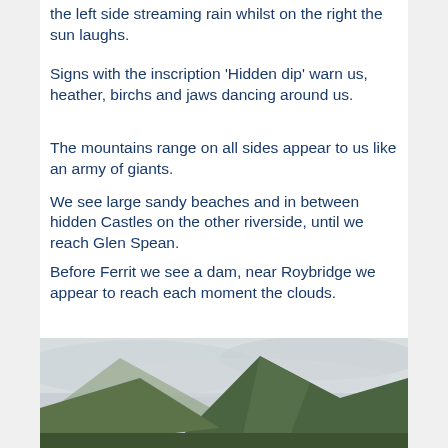the left side streaming rain whilst on the right the sun laughs.
Signs with the inscription 'Hidden dip' warn us, heather, birchs and jaws dancing around us.
The mountains range on all sides appear to us like an army of giants.
We see large sandy beaches and in between hidden Castles on the other riverside, until we reach Glen Spean.
Before Ferrit we see a dam, near Roybridge we appear to reach each moment the clouds.
[Figure (photo): Photograph of green mountains with an overcast sky, showing rugged highland terrain.]